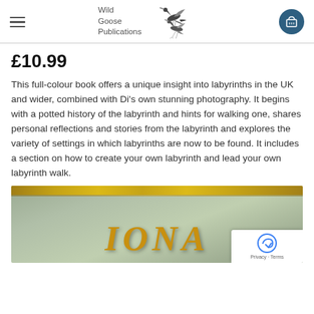Wild Goose Publications
£10.99
This full-colour book offers a unique insight into labyrinths in the UK and wider, combined with Di's own stunning photography. It begins with a potted history of the labyrinth and hints for walking one, shares personal reflections and stories from the labyrinth and explores the variety of settings in which labyrinths are now to be found. It includes a section on how to create your own labyrinth and lead your own labyrinth walk.
[Figure (photo): Book cover showing the title 'IONA' in large golden/amber stylized lettering on a muted green-grey background with a decorative golden border strip at the top]